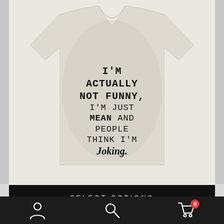[Figure (photo): A light beige/cream heather t-shirt with printed text reading: I'M ACTUALLY NOT FUNNY, I'M JUST MEAN AND PEOPLE THINK I'M Joking. The shirt is displayed against a light background with darker side panels.]
SELECT OPTIONS
[Figure (infographic): Bottom navigation bar with three icons on dark background: a person/account icon on the left, a search/magnifying glass icon in the center, and a shopping cart icon with a red badge showing '0' on the right.]